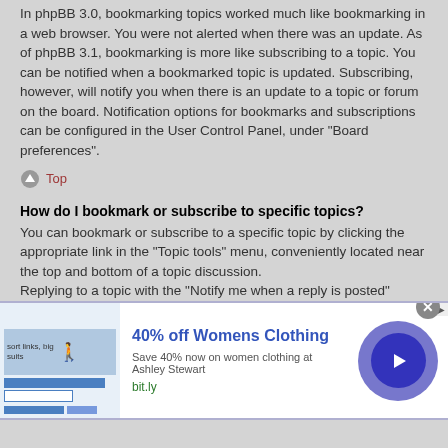In phpBB 3.0, bookmarking topics worked much like bookmarking in a web browser. You were not alerted when there was an update. As of phpBB 3.1, bookmarking is more like subscribing to a topic. You can be notified when a bookmarked topic is updated. Subscribing, however, will notify you when there is an update to a topic or forum on the board. Notification options for bookmarks and subscriptions can be configured in the User Control Panel, under “Board preferences”.
Top
How do I bookmark or subscribe to specific topics?
You can bookmark or subscribe to a specific topic by clicking the appropriate link in the “Topic tools” menu, conveniently located near the top and bottom of a topic discussion.
Replying to a topic with the “Notify me when a reply is posted” option checked will also subscribe you to the topic.
Top
[Figure (infographic): Advertisement banner: 40% off Womens Clothing, Save 40% now on women clothing at Ashley Stewart, bit.ly, with blue arrow button and close X button]